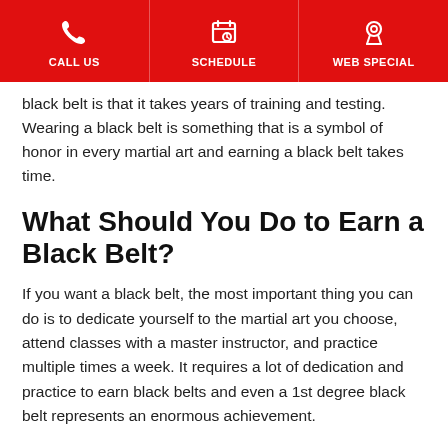CALL US | SCHEDULE | WEB SPECIAL
black belt is that it takes years of training and testing. Wearing a black belt is something that is a symbol of honor in every martial art and earning a black belt takes time.
What Should You Do to Earn a Black Belt?
If you want a black belt, the most important thing you can do is to dedicate yourself to the martial art you choose, attend classes with a master instructor, and practice multiple times a week. It requires a lot of dedication and practice to earn black belts and even a 1st degree black belt represents an enormous achievement.
If your goal is to move through the belt system and earn a black belt, we're here to help you achieve it. With dedication and